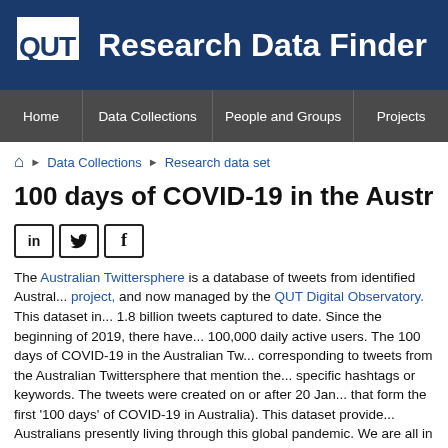QUT Research Data Finder
Home | Data Collections | People and Groups | Projects
Home > Data Collections > Research data set
100 days of COVID-19 in the Australian Twit...
[Figure (other): Social share buttons: LinkedIn (in), Twitter (bird), Facebook (f)]
The Australian Twittersphere is a database of tweets from identified Austral... project, and now managed by the QUT Digital Observatory. This dataset in... 1.8 billion tweets captured to date. Since the beginning of 2019, there have... 100,000 daily active users. The 100 days of COVID-19 in the Australian Tw... corresponding to tweets from the Australian Twittersphere that mention the... specific hashtags or keywords. The tweets were created on or after 20 Jan... that form the first '100 days' of COVID-19 in Australia). This dataset provide... Australians presently living through this global pandemic. We are all in this...